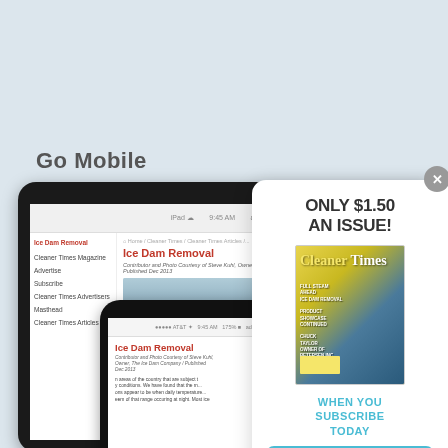Go Mobile
[Figure (screenshot): Tablet showing Cleaner Times website with Ice Dam Removal article, and smartphone showing the same article in mobile view]
[Figure (infographic): Subscription popup overlay: ONLY $1.50 AN ISSUE! with Cleaner Times magazine cover, WHEN YOU SUBSCRIBE TODAY text, and SUBSCRIBE button]